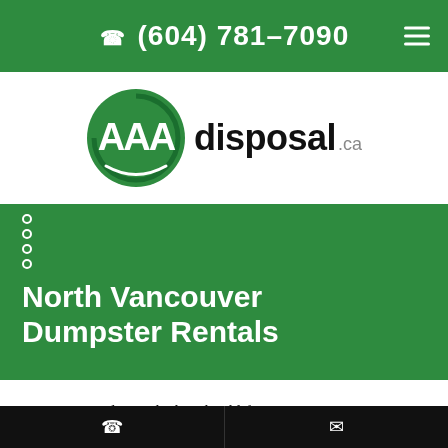(604) 781-7090
[Figure (logo): AAA disposal.ca logo — green circular badge with three white A letters and circular arrows, followed by 'disposal.ca' in black sans-serif text]
North Vancouver Dumpster Rentals
AAA Disposal uses the best hooklift system to ensure we can get into the tightest of locations with our waste
Phone | Email